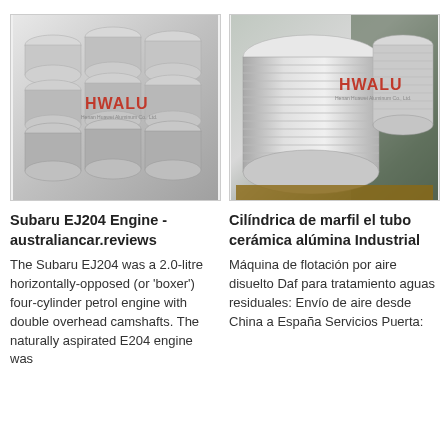...
[Figure (photo): Stacked aluminum circles/discs with HWALU Henan Huawei Aluminum Co., Ltd. watermark logo]
[Figure (photo): Large stacks of aluminum discs on wooden pallet in industrial setting with HWALU Henan Huawei Aluminum Co., Ltd. watermark logo]
Subaru EJ204 Engine - australiancar.reviews
The Subaru EJ204 was a 2.0-litre horizontally-opposed (or 'boxer') four-cylinder petrol engine with double overhead camshafts. The naturally aspirated E204 engine was
Cilíndrica de marfil el tubo cerámica alúmina Industrial
Máquina de flotación por aire disuelto Daf para tratamiento aguas residuales: Envío de aire desde China a España Servicios Puerta: